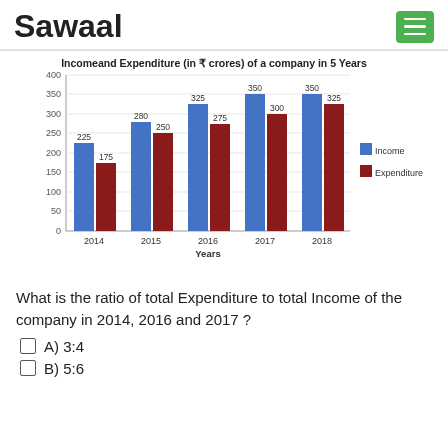Sawaal
[Figure (grouped-bar-chart): Incomeand Expenditure (in ₹ crores) of a company in 5 Years]
What is the ratio of total Expenditure to total Income of the company in 2014, 2016 and 2017 ?
A) 3:4
B) 5:6